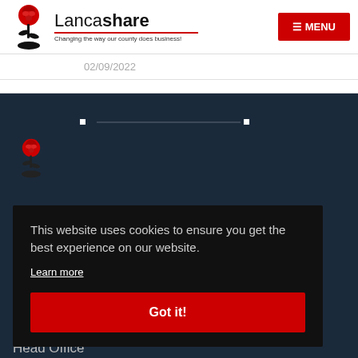Lancashare - Changing the way our county does business! | MENU
02/09/2022
[Figure (screenshot): Dark navy website footer section with Lancashare rose logo and navigation dots]
This website uses cookies to ensure you get the best experience on our website.
Learn more
Got it!
Head Office